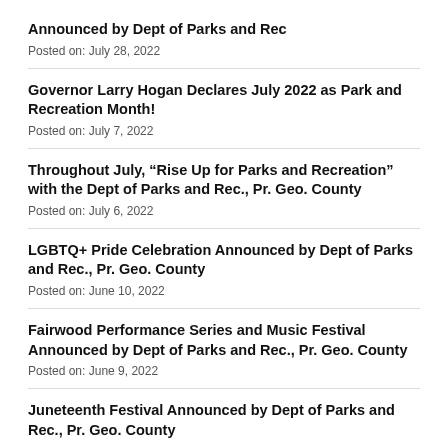Announced by Dept of Parks and Rec
Posted on: July 28, 2022
Governor Larry Hogan Declares July 2022 as Park and Recreation Month!
Posted on: July 7, 2022
Throughout July, “Rise Up for Parks and Recreation” with the Dept of Parks and Rec., Pr. Geo. County
Posted on: July 6, 2022
LGBTQ+ Pride Celebration Announced by Dept of Parks and Rec., Pr. Geo. County
Posted on: June 10, 2022
Fairwood Performance Series and Music Festival Announced by Dept of Parks and Rec., Pr. Geo. County
Posted on: June 9, 2022
Juneteenth Festival Announced by Dept of Parks and Rec., Pr. Geo. County